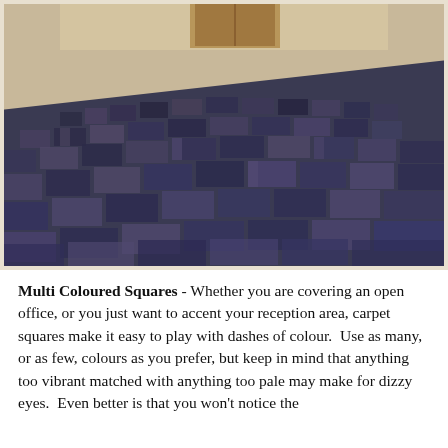[Figure (photo): Photograph of a large empty room with dark blue/grey patterned carpet tiles laid in a geometric multi-directional square pattern. Cream/beige walls visible in the background with a wooden door.]
Multi Coloured Squares - Whether you are covering an open office, or you just want to accent your reception area, carpet squares make it easy to play with dashes of colour. Use as many, or as few, colours as you prefer, but keep in mind that anything too vibrant matched with anything too pale may make for dizzy eyes. Even better is that you won't notice the